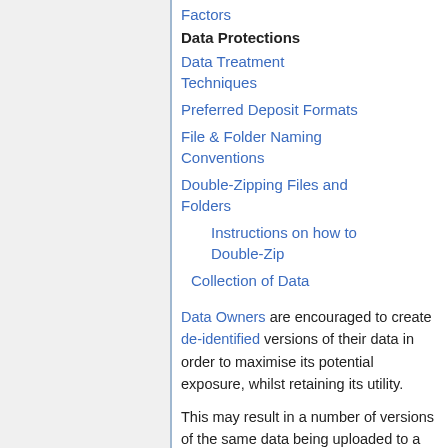Factors
Data Protections
Data Treatment Techniques
Preferred Deposit Formats
File & Folder Naming Conventions
Double-Zipping Files and Folders
Instructions on how to Double-Zip
Collection of Data
Data Owners are encouraged to create de-identified versions of their data in order to maximise its potential exposure, whilst retaining its utility.
This may result in a number of versions of the same data being uploaded to a dataset. For example, the first version